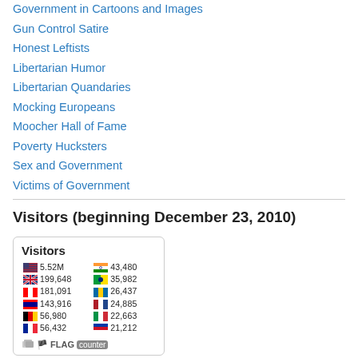Government in Cartoons and Images
Gun Control Satire
Honest Leftists
Libertarian Humor
Libertarian Quandaries
Mocking Europeans
Moocher Hall of Fame
Poverty Hucksters
Sex and Government
Victims of Government
Visitors (beginning December 23, 2010)
[Figure (infographic): Flag counter widget showing visitor counts by country. US: 5.52M, UK: 199,648, Canada: 181,091, Australia: 143,916, Germany: 56,980, France: 56,432, India: 43,480, Brazil: 35,982, Sweden: 26,437, Netherlands: 24,885, Ireland: 22,663, Philippines: 21,212]